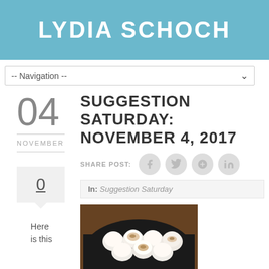LYDIA SCHOCH
-- Navigation --
SUGGESTION SATURDAY: NOVEMBER 4, 2017
04 NOVEMBER
SHARE POST:
In: Suggestion Saturday
0
Here is this
[Figure (photo): A cast iron skillet filled with toasted marshmallows, some golden-brown on top, on a wooden surface.]